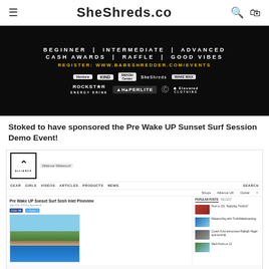SheShreds.co
[Figure (infographic): Dark banner advertisement with text: BEGINNER | INTERMEDIATE | ADVANCED, CASH AWARDS | RAFFLE | GOOD VIBES, REGISTER: WWW.BABESHREDDER.COM/EVENTS, with sponsor logos including Venture, KIND, Smash Center, She Shreds, Wake Wax, Rockstar Energy Drink, Hyperlite, and Elevated Clothing]
Stoked to have sponsored the Pre Wake UP Sunset Surf Session Demo Event!
[Figure (screenshot): Screenshot of Alliance Wakesurt website showing article: Pre Wake UP Sunset Surf Sesh Inlet Pineview, with navigation bar (GEAR, GIRLS, VIDEOS, ARTICLES, PRODUCTS, NEWS, SEARCH), shops dropdown (Shops, Alliance UK, Global), social share buttons, an image of a lake scene with mountains and trees, and sidebar with popular posts including: How to 101 Applying Traction, Wakesurfing with TruthWakeboarding, Covert Ford announces Raleigh Hager sponsorship, Madi Hona on 12]